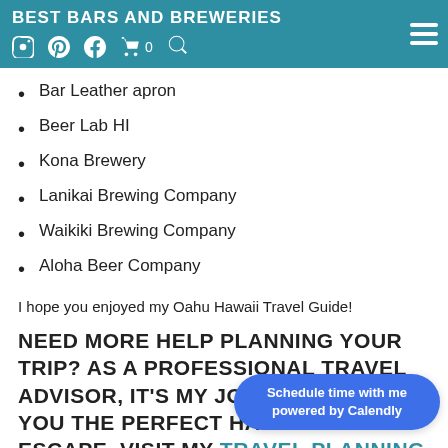BEST BARS AND BREWERIES
Bar Leather apron
Beer Lab HI
Kona Brewery
Lanikai Brewing Company
Waikiki Brewing Company
Aloha Beer Company
I hope you enjoyed my Oahu Hawaii Travel Guide!
NEED MORE HELP PLANNING YOUR TRIP? AS A PROFESSIONAL TRAVEL ADVISOR, IT'S MY JOB TO DESIGN YOU THE PERFECT HAWAIIAN ESCAPE. VISIT MY TRAVEL PLANNING PAGE OR PLANNING PROCESS FOR MORE.